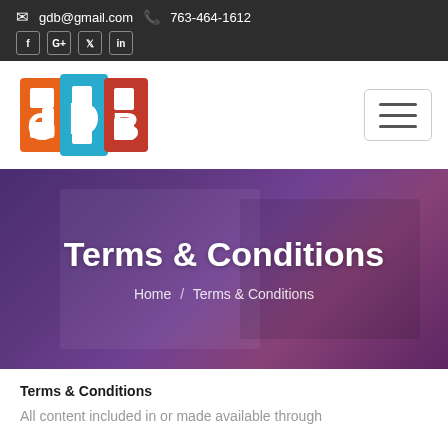✉ gdb@gmail.com  📞 763-464-1612  [Facebook] [Google+] [Twitter] [LinkedIn]
[Figure (logo): GDB logo with colorful stylized letters G, D, B in orange, cyan, and red]
[Figure (other): Hamburger menu button with three horizontal lines]
Terms & Conditions
Home / Terms & Conditions
Terms & Conditions
All content included in or made available through